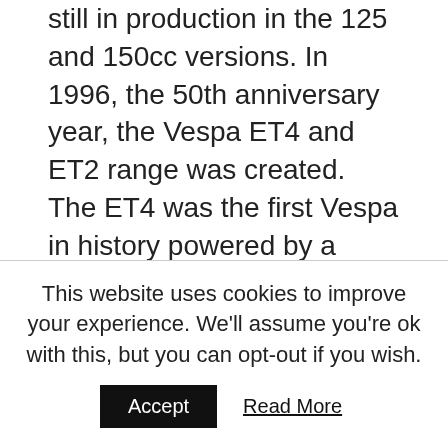still in production in the 125 and 150cc versions. In 1996, the 50th anniversary year, the Vespa ET4 and ET2 range was created. The ET4 was the first Vespa in history powered by a four-stroke engine.
There was another twist to the Vespa story in 2003 with the launch of the Granturismo 200L and 125L. With these two models, Vespa reached unprecedented size and power levels. In 2005, another two new products were added to the range: the Vespa LX (50, 125 and 150) replaced the Vespa ET (over 460,000 units sold since 1996) while, 50 years after the launch of the legendary Vespa GS Gran Sport, the Vespa GTS 250 i...
This website uses cookies to improve your experience. We'll assume you're ok with this, but you can opt-out if you wish.